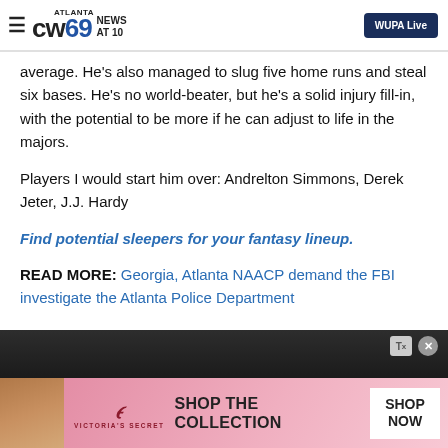ATLANTA CW69 NEWS AT 10 | WUPA Live
average. He's also managed to slug five home runs and steal six bases. He's no world-beater, but he's a solid injury fill-in, with the potential to be more if he can adjust to life in the majors.
Players I would start him over: Andrelton Simmons, Derek Jeter, J.J. Hardy
Find potential sleepers for your fantasy lineup.
READ MORE: Georgia, Atlanta NAACP demand the FBI investigate the Atlanta Police Department
[Figure (photo): Dark photo background with Victoria's Secret advertisement banner showing a woman model, VS logo, 'SHOP THE COLLECTION' text, and 'SHOP NOW' button]